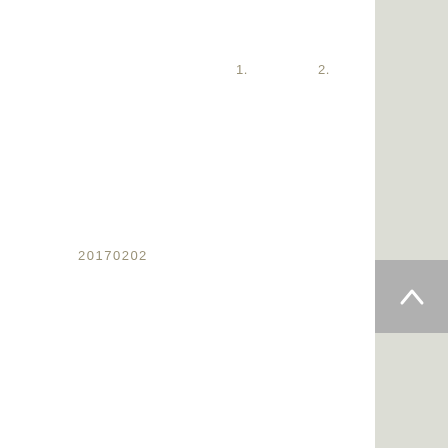1.
2.
20170202
[Figure (other): Back/up navigation arrow button in grey square]